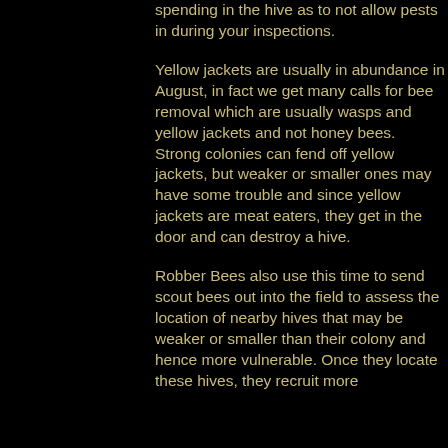spending in the hive as to not allow pests in during your inspections.
Yellow jackets are usually in abundance in August, in fact we get many calls for bee removal which are usually wasps and yellow jackets and not honey bees. Strong colonies can fend off yellow jackets, but weaker or smaller ones may have some trouble and since yellow jackets are meat eaters, they get in the door and can destroy a hive.
Robber Bees also use this time to send scout bees out into the field to assess the location of nearby hives that may be weaker or smaller than their colony and hence more vulnerable. Once they locate these hives, they recruit more